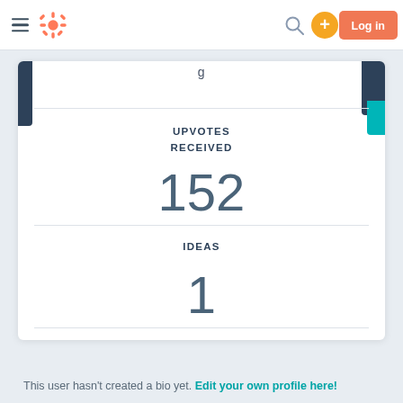HubSpot navigation bar with hamburger menu, logo, search, add button, and Log in button
UPVOTES RECEIVED
152
IDEAS
1
This user hasn't created a bio yet. Edit your own profile here!